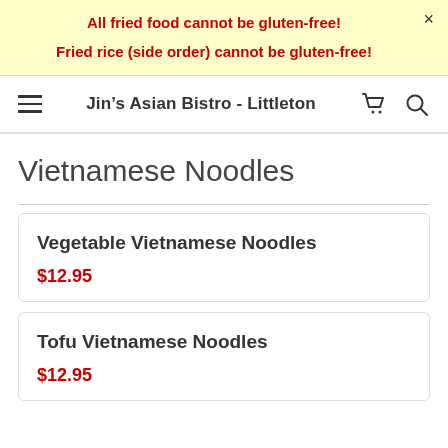All fried food cannot be gluten-free!
Fried rice (side order) cannot be gluten-free!
Jin's Asian Bistro - Littleton
Vietnamese Noodles
Vegetable Vietnamese Noodles
$12.95
Tofu Vietnamese Noodles
$12.95